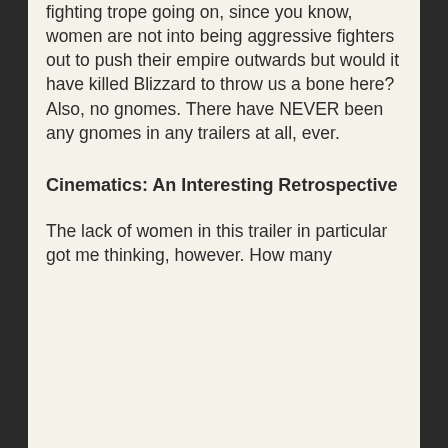fighting trope going on, since you know, women are not into being aggressive fighters out to push their empire outwards but would it have killed Blizzard to throw us a bone here? Also, no gnomes. There have NEVER been any gnomes in any trailers at all, ever.
Cinematics: An Interesting Retrospective
The lack of women in this trailer in particular got me thinking, however. How many